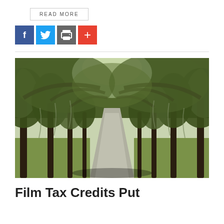READ MORE
[Figure (infographic): Social sharing icons: Facebook (blue), Twitter (light blue), Print (gray), Plus/More (red-orange)]
[Figure (photo): A tree-lined path or road with large oak trees draped in Spanish moss forming a canopy overhead, leading into the distance. Green grass on both sides.]
Film Tax Credits Put